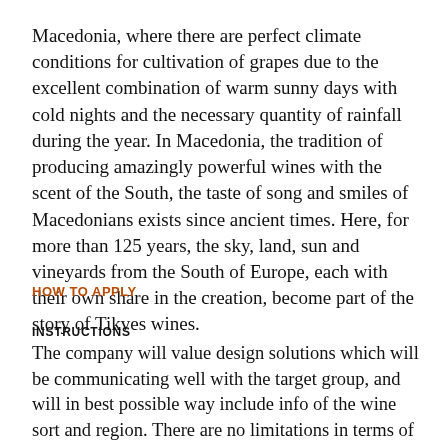Macedonia, where there are perfect climate conditions for cultivation of grapes due to the excellent combination of warm sunny days with cold nights and the necessary quantity of rainfall during the year. In Macedonia, the tradition of producing amazingly powerful wines with the scent of the South, the taste of song and smiles of Macedonians exists since ancient times. Here, for more than 125 years, the sky, land, sun and vineyards from the South of Europe, each with their own share in the creation, become part of the story of Tikves wines.
HOW TO APPLY
INSTRUCTIONS
The company will value design solutions which will be communicating well with the target group, and will in best possible way include info of the wine sort and region. There are no limitations in terms of design proposals, meaning that one person is welcome to submit more than one proposal.
The front label is main communication tool with the target group, it is a face of the wine and has to reveal the